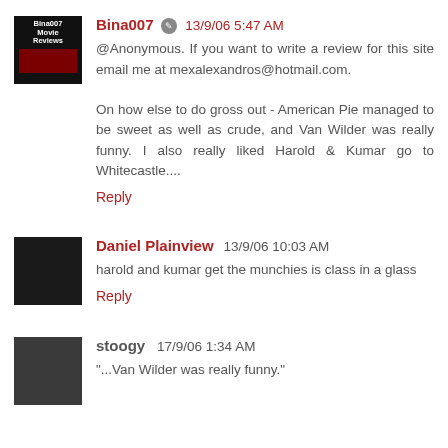Bina007 ✎ 13/9/06 5:47 AM
@Anonymous. If you want to write a review for this site email me at mexalexandros@hotmail.com.

On how else to do gross out - American Pie managed to be sweet as well as crude, and Van Wilder was really funny. I also really liked Harold & Kumar go to Whitecastle....
Reply
Daniel Plainview 13/9/06 10:03 AM
harold and kumar get the munchies is class in a glass
Reply
stoogy 17/9/06 1:34 AM
"...Van Wilder was really funny."